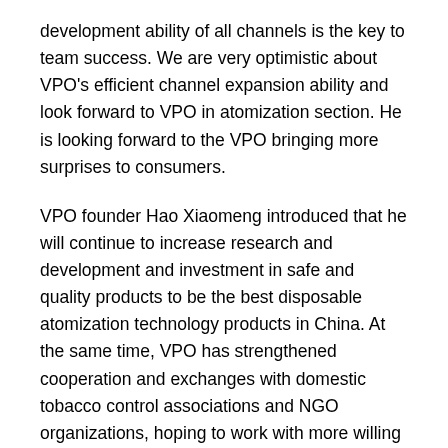development ability of all channels is the key to team success. We are very optimistic about VPO's efficient channel expansion ability and look forward to VPO in atomization section. He is looking forward to the VPO bringing more surprises to consumers.
VPO founder Hao Xiaomeng introduced that he will continue to increase research and development and investment in safe and quality products to be the best disposable atomization technology products in China. At the same time, VPO has strengthened cooperation and exchanges with domestic tobacco control associations and NGO organizations, hoping to work with more willing channel partners to build an ecosystem of the vape technology.
The author tests over 100 kinds of similar pod vapes at IECIE today, after comparing all the